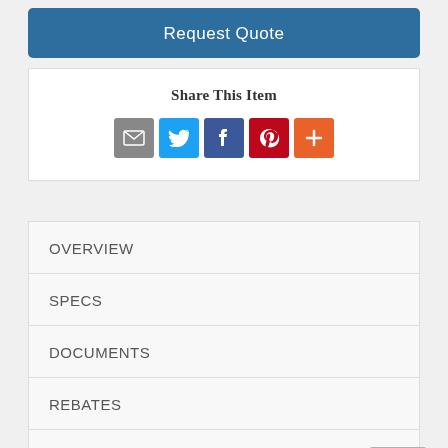Request Quote
Share This Item
[Figure (infographic): Social share icons: Email (grey), Twitter (blue bird), Facebook (blue f), Pinterest (red P), More (orange plus)]
OVERVIEW
SPECS
DOCUMENTS
REBATES
VIDEOS